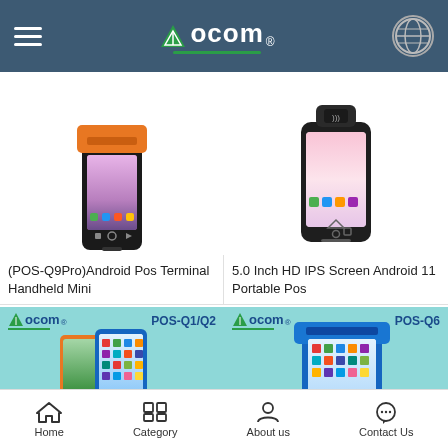[Figure (screenshot): Aocom brand website header with hamburger menu, logo, and globe icon on dark blue background]
[Figure (photo): Handheld Android POS terminal with orange printer top and colorful touchscreen display]
(POS-Q9Pro)Android Pos Terminal Handheld Mini
[Figure (photo): 5 inch HD IPS screen Android 11 portable POS device with NFC reader on top]
5.0 Inch HD IPS Screen Android 11 Portable Pos
[Figure (photo): Aocom POS-Q1/Q2 branded product image showing two colorful handheld POS terminals on teal background]
[Figure (photo): Aocom POS-Q6 branded product image showing blue handheld POS terminal on teal background]
[Figure (screenshot): Bottom navigation bar with Home, Category, About us, Contact Us icons]